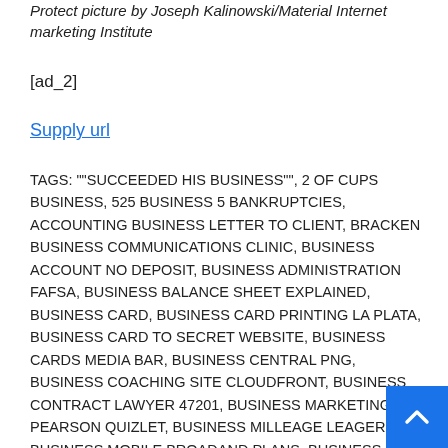Protect picture by Joseph Kalinowski/Material Internet marketing Institute
[ad_2]
Supply url
TAGS: ""SUCCEEDED HIS BUSINESS"", 2 OF CUPS BUSINESS, 525 BUSINESS 5 BANKRUPTCIES, ACCOUNTING BUSINESS LETTER TO CLIENT, BRACKEN BUSINESS COMMUNICATIONS CLINIC, BUSINESS ACCOUNT NO DEPOSIT, BUSINESS ADMINISTRATION FAFSA, BUSINESS BALANCE SHEET EXPLAINED, BUSINESS CARD, BUSINESS CARD PRINTING LA PLATA, BUSINESS CARD TO SECRET WEBSITE, BUSINESS CARDS MEDIA BAR, BUSINESS CENTRAL PNG, BUSINESS COACHING SITE CLOUDFRONT, BUSINESS CONTRACT LAWYER 47201, BUSINESS MARKETING PEARSON QUIZLET, BUSINESS MILLEAGE LEAGER 18, BUSINESS MOBILE BROADAND PLANS, BUSINESS PLAN FOR SUPPLEMENT COMPANY, BUSINESS PLAN